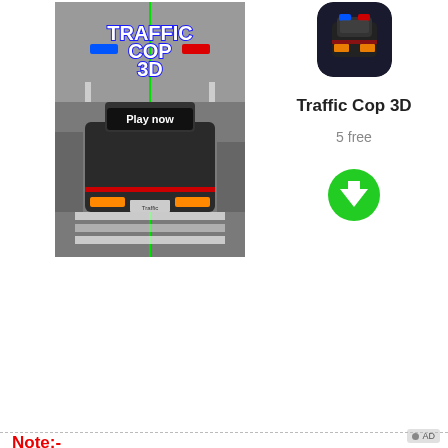[Figure (screenshot): Traffic Cop 3D mobile game advertisement screenshot showing a police car driving on a road with 'Traffic Cop 3D' title in white and a 'Play now' button]
[Figure (photo): Traffic Cop 3D app icon showing a police car on dark background with rounded corners]
Traffic Cop 3D
5 free
[Figure (other): Green circular download button with white downward arrow]
AD
Note:-